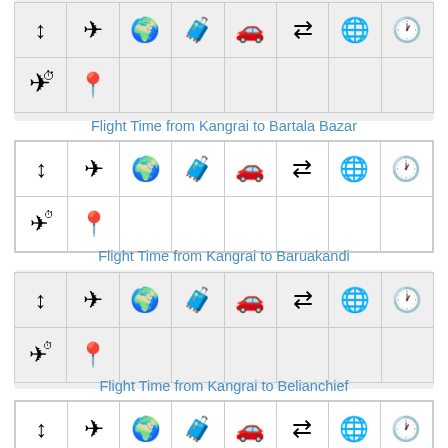[Figure (infographic): Grid of travel icons in gray background: arrow up/down, airplane, globe, luggage, car, arrows left-right, world, clock, airplane with clock, location pin]
Flight Time from Kangrai to Bartala Bazar
[Figure (infographic): Grid of travel icons in white background: arrow up/down, airplane, globe, luggage, car, arrows left-right, world, clock, airplane with clock, location pin]
Flight Time from Kangrai to Baruakandi
[Figure (infographic): Grid of travel icons in gray background: arrow up/down, airplane, globe, luggage, car, arrows left-right, world, clock, airplane with clock, location pin]
Flight Time from Kangrai to Belianchief
[Figure (infographic): Grid of travel icons in white background: arrow up/down, airplane, globe, luggage, car, arrows left-right, world, clock, airplane with clock, location pin]